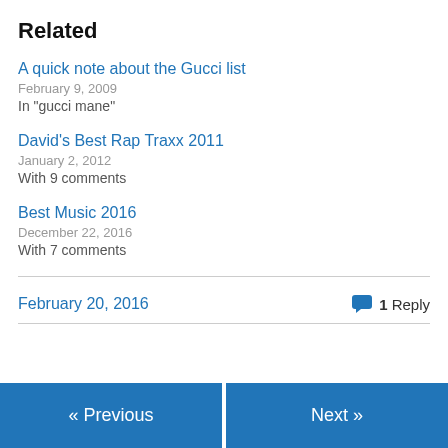Related
A quick note about the Gucci list
February 9, 2009
In "gucci mane"
David's Best Rap Traxx 2011
January 2, 2012
With 9 comments
Best Music 2016
December 22, 2016
With 7 comments
February 20, 2016    1 Reply
« Previous    Next »